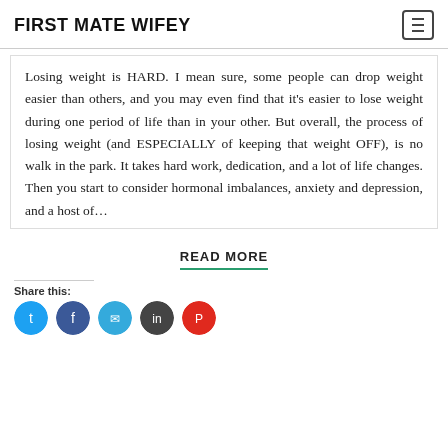FIRST MATE WIFEY
Losing weight is HARD. I mean sure, some people can drop weight easier than others, and you may even find that it’s easier to lose weight during one period of life than in your other. But overall, the process of losing weight (and ESPECIALLY of keeping that weight OFF), is no walk in the park. It takes hard work, dedication, and a lot of life changes. Then you start to consider hormonal imbalances, anxiety and depression, and a host of…
READ MORE
Share this: